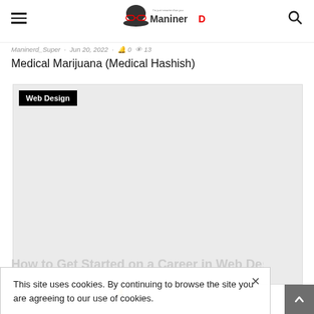ManinerD
Maninerd_Super · Jun 20, 2022 · 0 · 13
Medical Marijuana (Medical Hashish)
[Figure (screenshot): Gray placeholder image card with 'Web Design' badge in black on white text in top-left corner]
This site uses cookies. By continuing to browse the site you are agreeing to our use of cookies.
How to Get Started on a Career in Web Design
Maninerd_Super · Jun 20, 2022 · 0 · 35